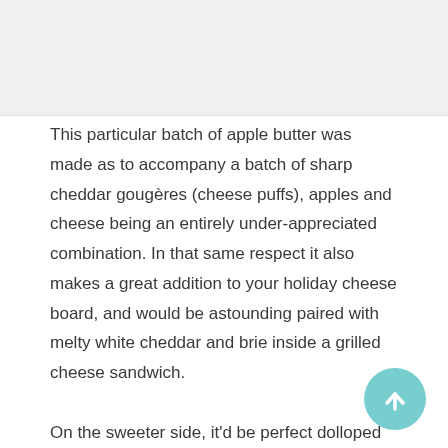[Figure (photo): Cropped image placeholder at top of page, light gray background]
This particular batch of apple butter was made as to accompany a batch of sharp cheddar gougères (cheese puffs), apples and cheese being an entirely under-appreciated combination. In that same respect it also makes a great addition to your holiday cheese board, and would be astounding paired with melty white cheddar and brie inside a grilled cheese sandwich.
On the sweeter side, it'd be perfect dolloped on biscuits, spread onto toast, warmed and drizzled on